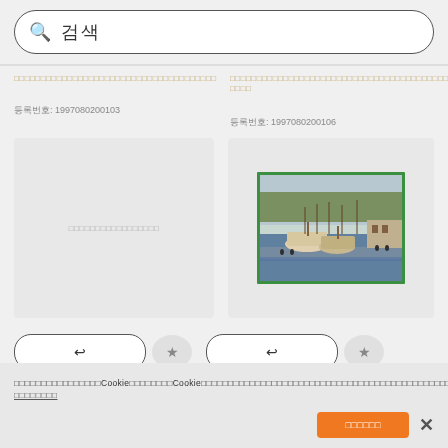🔍 검색
□□□□□□□□□□□□□□□□□□□□□□□□□□□□□□□□□□□□□□
등록번호: 1997080200103
□□□□□□□□□□□□□□□□□□□□□□□□□□□□□□□□□□□□□□□□□□□□□ □□□□
등록번호: 1997080200106
[Figure (photo): Left card placeholder with Korean text label]
[Figure (photo): Right card showing harbor/port scene with boats and waterfront buildings, stamp with green border]
□□□□□□□□□□□□□□□□□□Cookie□□□□□□□□Cookie□□□□□□□□□□□□□□□□□□□□□□□□□□□□□□□□□□□□□□□□□□□□□□□□□Cookie□□□□□□□□□□□□□□□□□□ □□□□□□□□
□□□□□□□□